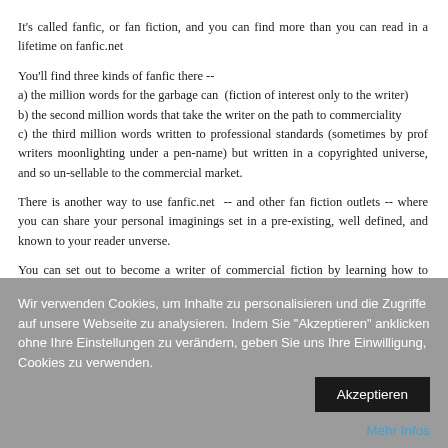It's called fanfic, or fan fiction, and you can find more than you can read in a lifetime on fanfic.net
You'll find three kinds of fanfic there --
a) the million words for the garbage can  (fiction of interest only to the writer)
b) the second million words that take the writer on the path to commerciality
c) the third million words written to professional standards (sometimes by prof writers moonlighting under a pen-name) but written in a copyrighted universe, and so un-sellable to the commercial market.
There is another way to use fanfic.net  -- and other fan fiction outlets -- where you can share your personal imaginings set in a pre-existing, well defined, and known to your reader unverse.
You can set out to become a writer of commercial fiction by learning how to please and build an audience which has a narrow, and well defined taste in fiction.
Wir verwenden Cookies, um Inhalte zu personalisieren und die Zugriffe auf unsere Webseite zu analysieren. Indem Sie "Akzeptieren" anklicken ohne Ihre Einstellungen zu verändern, geben Sie uns Ihre Einwilligung, Cookies zu verwenden.
Akzeptieren
Mehr Infos